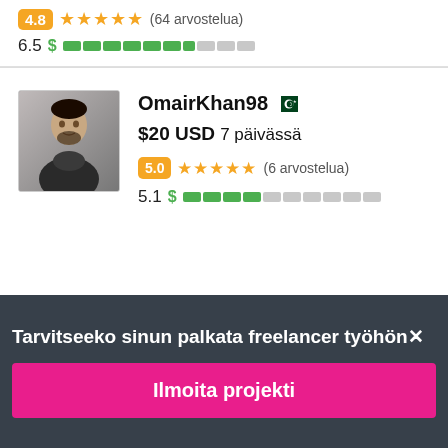4.8 ★★★★★ (64 arvostelua)
6.5 $ ■■■■■■■■■■
[Figure (photo): Profile photo of OmairKhan98, a man in a dark jacket]
OmairKhan98 [Pakistan flag]
$20 USD 7 päivässä
5.0 ★★★★★ (6 arvostelua)
5.1 $ ■■■■■■■■■■
Tarvitseeko sinun palkata freelancer työhön✕
Ilmoita projekti